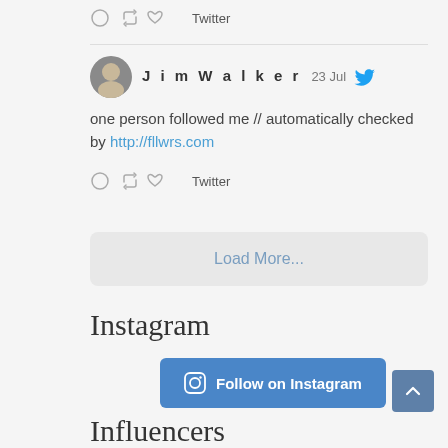[Figure (screenshot): Tweet action icons (reply, retweet, like) and Twitter label at top]
[Figure (screenshot): Tweet by JimWalker dated 23 Jul with Twitter bird icon, avatar photo, tweet text 'one person followed me // automatically checked by http://fllwrs.com', and action icons below]
Load More...
Instagram
Follow on Instagram
Influencers